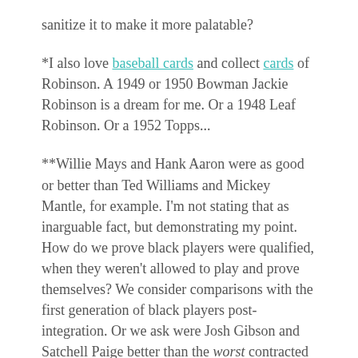sanitize it to make it more palatable?
*I also love baseball cards and collect cards of Robinson. A 1949 or 1950 Bowman Jackie Robinson is a dream for me. Or a 1948 Leaf Robinson. Or a 1952 Topps...
**Willie Mays and Hank Aaron were as good or better than Ted Williams and Mickey Mantle, for example. I'm not stating that as inarguable fact, but demonstrating my point. How do we prove black players were qualified, when they weren't allowed to play and prove themselves? We consider comparisons with the first generation of black players post-integration. Or we ask were Josh Gibson and Satchell Paige better than the worst contracted MLB white players in 1937?